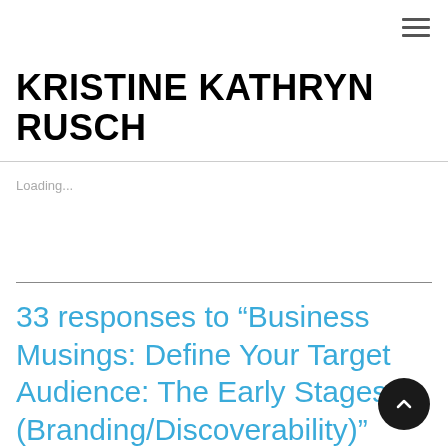[Figure (other): Hamburger menu icon (three horizontal lines) in top right corner]
KRISTINE KATHRYN RUSCH
Loading...
33 responses to “Business Musings: Define Your Target Audience: The Early Stages (Branding/Discoverability)”
[Figure (other): Scroll-to-top button: dark circle with upward chevron arrow]